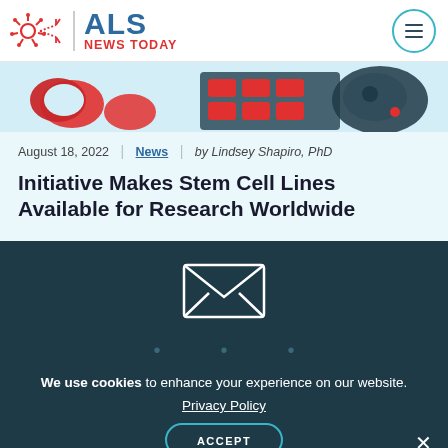ALS NEWS TODAY
[Figure (illustration): Partial view of biological cell illustration with red and dark teal circular cell shapes on a light blue background]
August 18, 2022 | News | by Lindsey Shapiro, PhD
Initiative Makes Stem Cell Lines Available for Research Worldwide
[Figure (illustration): White envelope icon on dark teal background representing email newsletter signup]
We use cookies to enhance your experience on our website. Privacy Policy ACCEPT